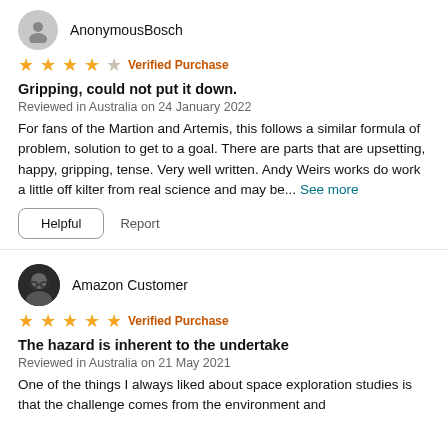AnonymousBosch
★★★★☆ Verified Purchase
Gripping, could not put it down.
Reviewed in Australia on 24 January 2022
For fans of the Martion and Artemis, this follows a similar formula of problem, solution to get to a goal. There are parts that are upsetting, happy, gripping, tense. Very well written. Andy Weirs works do work a little off kilter from real science and may be... See more
Helpful   Report
Amazon Customer
★★★★★ Verified Purchase
The hazard is inherent to the undertake
Reviewed in Australia on 21 May 2021
One of the things I always liked about space exploration studies is that the challenge comes from the environment and